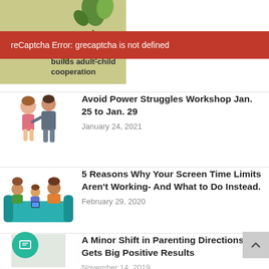[Figure (illustration): Olive/sage green background with leaf decorations. Text reads 'builds adult-child cooperation']
reCaptcha Error: grecaptcha is not defined
Avoid Power Struggles Workshop Jan. 25 to Jan. 29
January 24, 2021
5 Reasons Why Your Screen Time Limits Aren't Working- And What to Do Instead.
February 29, 2020
A Minor Shift in Parenting Directions Gets Big Positive Results
November 14, 2019